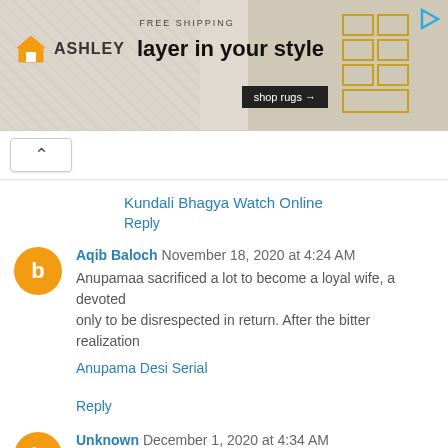[Figure (photo): Ashley furniture advertisement banner: 'FREE SHIPPING', 'layer in your style', 'shop rugs' button, orange house logo, background texture of rugs]
Kundali Bhagya Watch Online
Reply
Aqib Baloch November 18, 2020 at 4:24 AM
Anupamaa sacrificed a lot to become a loyal wife, a devoted
only to be disrespected in return. After the bitter realization
Anupama Desi Serial
Reply
Unknown December 1, 2020 at 4:34 AM
Welcome to DesiSerials, we provide hindi tv top favorite tv